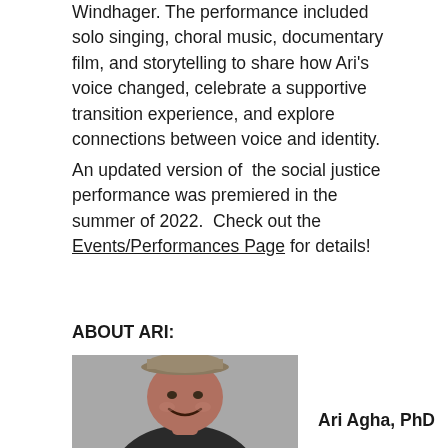Windhager. The performance included solo singing, choral music, documentary film, and storytelling to share how Ari's voice changed, celebrate a supportive transition experience, and explore connections between voice and identity.
An updated version of the social justice performance was premiered in the summer of 2022. Check out the Events/Performances Page for details!
ABOUT ARI:
[Figure (photo): Portrait photo of Ari Agha, PhD — a person wearing a flat cap and dark shirt, smiling, against a grey background]
Ari Agha, PhD